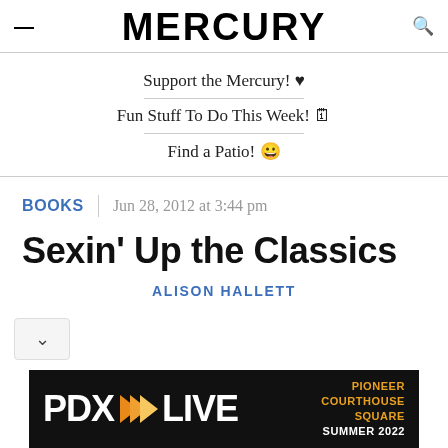MERCURY
Support the Mercury! ♥
Fun Stuff To Do This Week! 🎟
Find a Patio! 😊
BOOKS  |  Jun 28, 2012 at 3:44 pm
Sexin' Up the Classics
ALISON HALLETT
[Figure (other): PDX LIVE advertisement banner - Pioneer Courthouse Square Summer 2022]